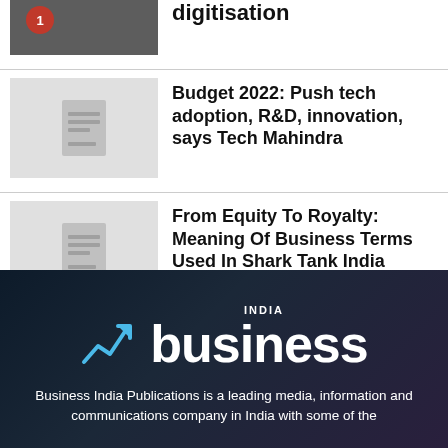[Figure (photo): Partial article thumbnail with people in dark clothing]
digitisation
[Figure (photo): Gray placeholder thumbnail with document icon]
Budget 2022: Push tech adoption, R&D, innovation, says Tech Mahindra
[Figure (photo): Gray placeholder thumbnail with document icon]
From Equity To Royalty: Meaning Of Business Terms Used In Shark Tank India
[Figure (logo): India Business logo — chart arrow icon with 'business' in large white text and 'INDIA' above]
Business India Publications is a leading media, information and communications company in India with some of the